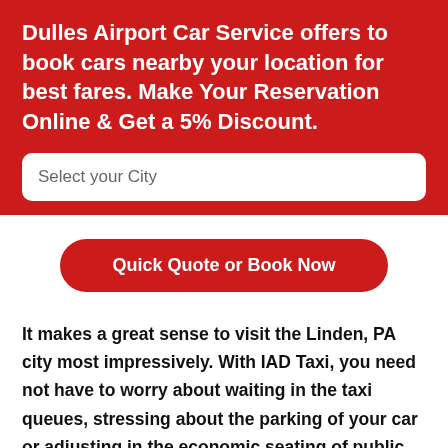Dulles Airport Car Service offers to book cars nearby your location for best fares. Make Your Reservation Online & Get a 5% Discount.
Select your City
Quick Quote or Book Now
It makes a great sense to visit the Linden, PA city most impressively. With IAD Taxi, you need not have to worry about waiting in the taxi queues, stressing about the parking of your car or adjusting in the economic seating of public transport. At Dulles Airport Car Service, we provide you with the most astonishing and magnificent chauffeur-driven car